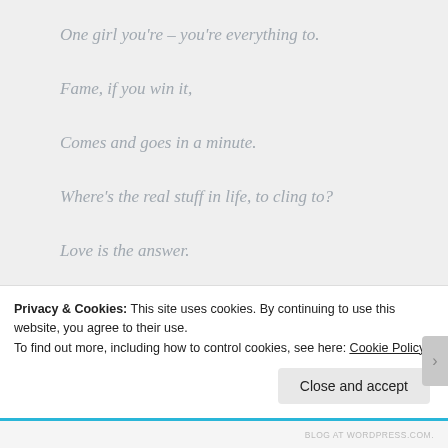One girl you're – you're everything to.
Fame, if you win it,
Comes and goes in a minute.
Where's the real stuff in life, to cling to?
Love is the answer.
Someone to love is the answer.
Privacy & Cookies: This site uses cookies. By continuing to use this website, you agree to their use.
To find out more, including how to control cookies, see here: Cookie Policy
Close and accept